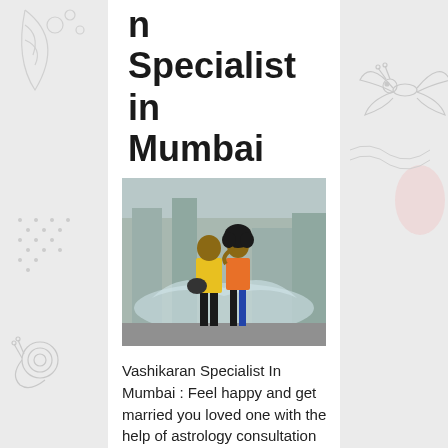n Specialist in Mumbai
[Figure (photo): A couple standing together outdoors near a water fountain, the woman with curly hair wearing orange, the man in yellow shirt holding a helmet]
Vashikaran Specialist In Mumbai : Feel happy and get married you loved one with the help of astrology consultation in mumbai. Pandit